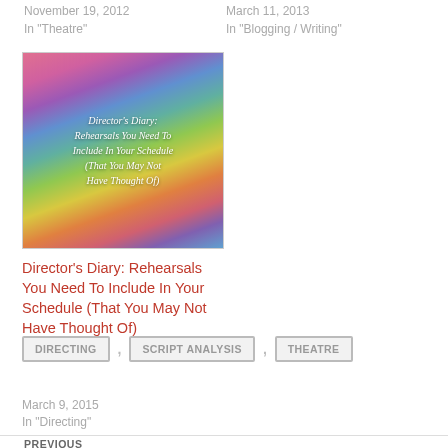November 19, 2012
In "Theatre"
March 11, 2013
In "Blogging / Writing"
[Figure (photo): Colorful book spines with white handwritten-style text overlay reading: Director's Diary: Rehearsals You Need To Include In Your Schedule (That You May Not Have Thought Of)]
Director's Diary: Rehearsals You Need To Include In Your Schedule (That You May Not Have Thought Of)
March 9, 2015
In "Directing"
DIRECTING
SCRIPT ANALYSIS
THEATRE
PREVIOUS